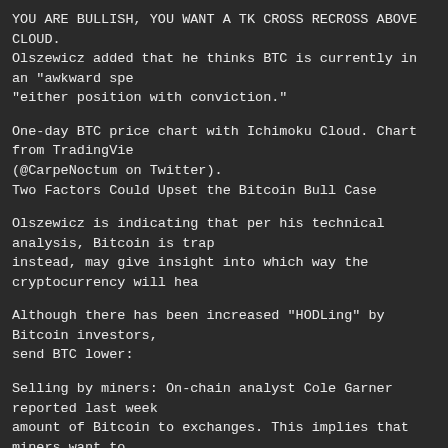YOU ARE BULLISH, YOU WANT A TK CROSS RECROSS ABOVE CLOUD. Olszewicz added that he thinks BTC is currently in an "awkward spe... "either position with conviction."
One-day BTC price chart with Ichimoku Cloud. Chart from TradingVie... (@CarpeNoctum on Twitter).
Two Factors Could Upset the Bitcoin Bull Case
Olszewicz is indicating that per his technical analysis, Bitcoin is trap... instead, may give insight into which way the cryptocurrency will hea...
Although there has been increased "HODLing" by Bitcoin investors, ... send BTC lower:
Selling by miners: On-chain analyst Cole Garner reported last week ... amount of Bitcoin to exchanges. This implies that miners want to ... as possible due to potential downside.
Selling by PlusToken: Spencer Noon reported that more than $450 m... XRP have moved from PlusToken-owned addresses. Other analyst... are slowly being siphoned into exchanges, presumably to be liquidat...
A dropping S&P 500: Finally, a retracement in the S&P 500 could lead...